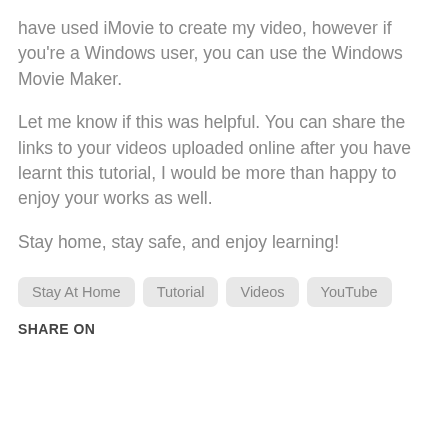have used iMovie to create my video, however if you're a Windows user, you can use the Windows Movie Maker.
Let me know if this was helpful. You can share the links to your videos uploaded online after you have learnt this tutorial, I would be more than happy to enjoy your works as well.
Stay home, stay safe, and enjoy learning!
Stay At Home
Tutorial
Videos
YouTube
SHARE ON